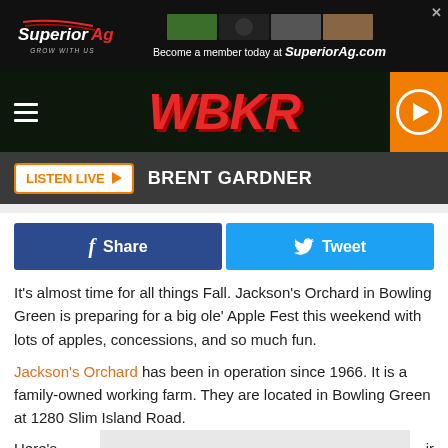[Figure (screenshot): Superior Ag advertisement banner with logo and images, text: Become a member today at SuperiorAg.com]
[Figure (logo): WBKR radio station logo in red italic text on dark background with hamburger menu and play button]
LISTEN LIVE ▶  BRENT GARDNER
[Figure (other): Facebook Share and Twitter Tweet social sharing buttons]
It's almost time for all things Fall.  Jackson's Orchard in Bowling Green is preparing for a big ole' Apple Fest this weekend with lots of apples, concessions, and so much fun.
Jackson's Orchard has been in operation since 1966.  It is a family-owned working farm.  They are located in Bowling Green at 1280 Slim Island Road.
Here's [partially obscured by gray box] ir Faceb